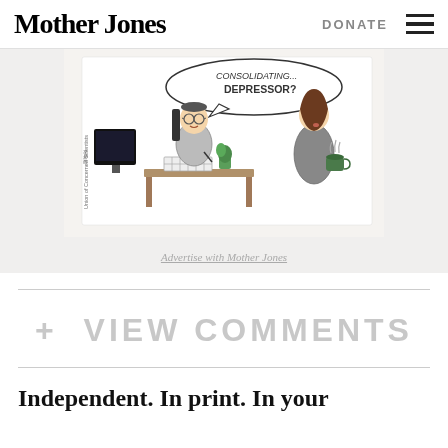Mother Jones | DONATE
[Figure (illustration): A cartoon/comic illustration showing a man sitting at a desk with a crossword puzzle and a plant, and a woman standing nearby holding a coffee cup with steam. A speech bubble reads 'CONSOLIDATING... DEPRESSOR?' The cartoon is attributed to Bilijoki and Union of Concerned Scientists.]
Advertise with Mother Jones
+ VIEW COMMENTS
Independent. In print. In your